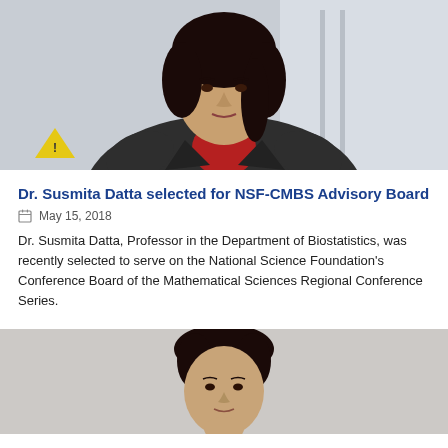[Figure (photo): Portrait photo of Dr. Susmita Datta, a woman with dark hair wearing a dark grey blazer over a red turtleneck, photographed in an office/hallway setting]
Dr. Susmita Datta selected for NSF-CMBS Advisory Board
May 15, 2018
Dr. Susmita Datta, Professor in the Department of Biostatistics, was recently selected to serve on the National Science Foundation's Conference Board of the Mathematical Sciences Regional Conference Series.
[Figure (photo): Portrait photo of a second person with dark hair, photographed against a light grey background, showing head and upper shoulders]